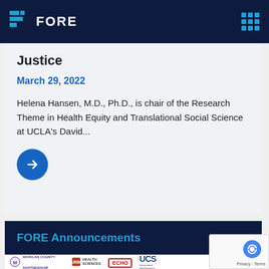FORE
Justice
March 29, 2022
Helena Hansen, M.D., Ph.D., is chair of the Research Theme in Health Equity and Translational Social Science at UCLA's David...
FORE Announcements
[Figure (logo): Partner logos: Morgan County Partnership, UNM Health Sciences, Project ECHO, UCSF]